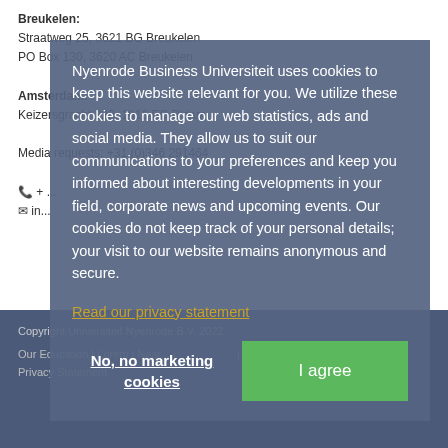Breukelen:
Straatweg 25, 3621 BG Breukelen
PO Box 130, 3620 AC Breukelen
Amsterdam:
Keizersgracht 223, 1016 EC R'dam
Media requests: +31 (0)346 291464
+ ...
in...
Nyenrode Business Universiteit uses cookies to keep this website relevant for you. We utilize these cookies to manage our web statistics, ads and social media. They allow us to suit our communications to your preferences and keep you informed about interesting developments in your field, corporate news and upcoming events. Our cookies do not keep track of your personal details; your visit to our website remains anonymous and secure.
Read our privacy statement
No, no marketing cookies
I agree
Copyright Universiteit Nyenrode B.V. 2022
Our Education | Lorem | Naar... | ... | Privacy Statement